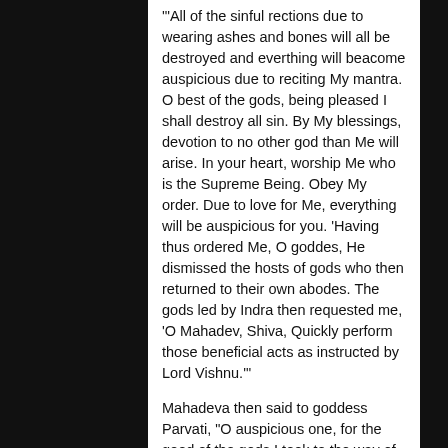'"All of the sinful rections due to wearing ashes and bones will all be destroyed and everthing will beacome auspicious due to reciting My mantra. O best of the gods, being pleased I shall destroy all sin. By My blessings, devotion to no other god than Me will arise. In your heart, worship Me who is the Supreme Being. Obey My order. Due to love for Me, everything will be auspicious for you. 'Having thus ordered Me, O goddes, He dismissed the hosts of gods who then returned to their own abodes. The gods led by Indra then requested me, 'O Mahadev, Shiva, Quickly perform those beneficial acts as instructed by Lord Vishnu.'"'
Mahadeva then said to goddess Parvati, "O auspicious one, for the good of the gods I took to the way of the pasandis and started wearing skulls, hides, ashes, and bones. O auspicious one, as